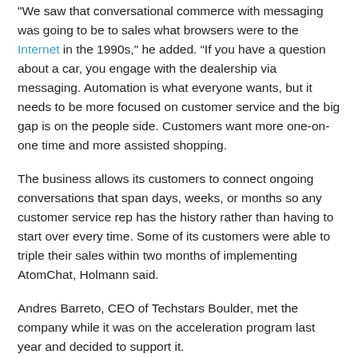"We saw that conversational commerce with messaging was going to be to sales what browsers were to the Internet in the 1990s," he added. “If you have a question about a car, you engage with the dealership via messaging. Automation is what everyone wants, but it needs to be more focused on customer service and the big gap is on the people side. Customers want more one-on-one time and more assisted shopping.
The business allows its customers to connect ongoing conversations that span days, weeks, or months so any customer service rep has the history rather than having to start over every time. Some of its customers were able to triple their sales within two months of implementing AtomChat, Holmann said.
Andres Barreto, CEO of Techstars Boulder, met the company while it was on the acceleration program last year and decided to support it.
While the available tools were created by US businesses thinking in terms of American consumers, Latin America, on the contrary, is one